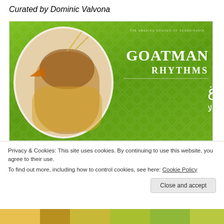Curated by Dominic Valvona
[Figure (photo): Album cover for 'Goatman Rhythms' (Goatman) on The Amazing Sounds of Scandinavia label. Green diamond-patterned background with a masked/costumed figure in an oval frame on the left, and white old-English style text reading 'GOATMAN RHYTHMS' with Arabic script below on the right.]
Privacy & Cookies: This site uses cookies. By continuing to use this website, you agree to their use.
To find out more, including how to control cookies, see here: Cookie Policy
Close and accept